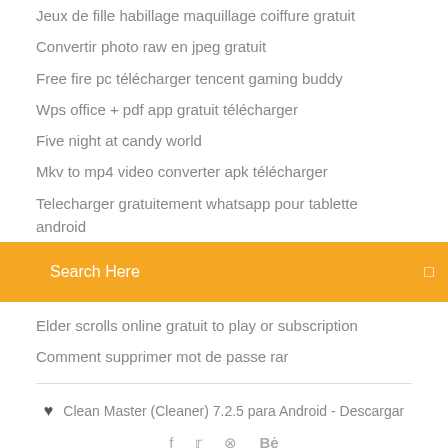Jeux de fille habillage maquillage coiffure gratuit
Convertir photo raw en jpeg gratuit
Free fire pc télécharger tencent gaming buddy
Wps office + pdf app gratuit télécharger
Five night at candy world
Mkv to mp4 video converter apk télécharger
Telecharger gratuitement whatsapp pour tablette android
Search Here
Elder scrolls online gratuit to play or subscription
Comment supprimer mot de passe rar
♥ Clean Master (Cleaner) 7.2.5 para Android - Descargar
f  ✈  ⊗  Bě
Descargar Clean Master for PC gratis - Última